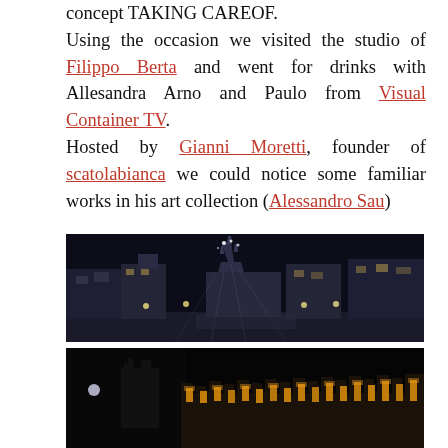concept TAKING CAREOF.
Using the occasion we visited the studio of Filippo Berta and went for drinks with Allesandra Arno and Paulo from Visual Container TV.
Hosted by Gianni Moretti, founder of scatolabianca we could notice some familiar works in his art collection (Alessandro Sau)
[Figure (photo): Night panoramic photograph of Milan cathedral (Duomo di Milano) and surrounding piazza illuminated at night]
[Figure (photo): Night photograph of an illuminated castle or fortress wall with warm golden lights, dark background]